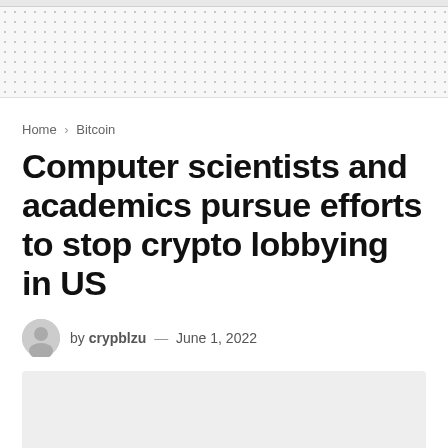Home › Bitcoin
Computer scientists and academics pursue efforts to stop crypto lobbying in US
by crypblzu — June 1, 2022
[Figure (photo): Gray placeholder image below the article byline]